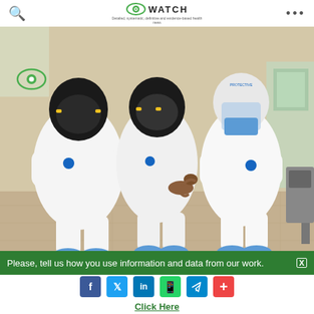WATCH
[Figure (photo): Three healthcare workers in full white PPE hazmat suits with gas masks and blue shoe covers, one holding a newborn baby. They are standing in what appears to be a medical facility/laboratory setting.]
One of the babies delivered via CS. Photo credit: Nigeria
Please, tell us how you use information and data from our work.
Click Here